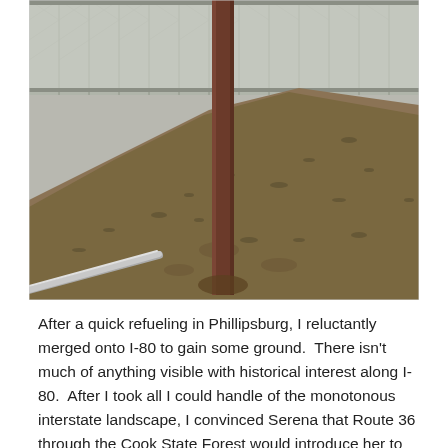[Figure (photo): Outdoor photo showing a chain-link fence at the top of an earthen embankment/slope. A rusted metal pole stands in the center foreground. The slope is covered with dry, sparse brownish grass and bare soil. A silver/galvanized metal railing is visible in the lower left corner. The background shows the fence structure and a grey sky.]
After a quick refueling in Phillipsburg, I reluctantly merged onto I-80 to gain some ground.  There isn't much of anything visible with historical interest along I-80.  After I took all I could handle of the monotonous interstate landscape, I convinced Serena that Route 36 through the Cook State Forest would introduce her to the quintessential 'small town northwestern PA' as well as several rural